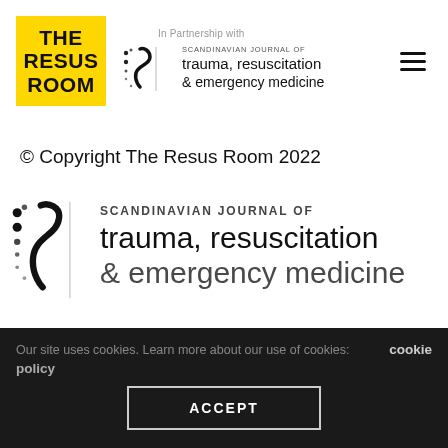[Figure (logo): The Resus Room yellow square logo with bold black text reading THE RESUS ROOM, alongside Scandinavian Journal of trauma, resuscitation & emergency medicine logo, with 'In Partnership with' text above. Hamburger menu icon at right.]
© Copyright The Resus Room 2022
[Figure (logo): Large Scandinavian Journal of trauma, resuscitation & emergency medicine logo with S-curve icon on left and text 'SCANDINAVIAN JOURNAL OF trauma, resuscitation & emergency medicine' partially visible]
Our site uses cookies. Learn more about our use of cookies: cookie policy
ACCEPT